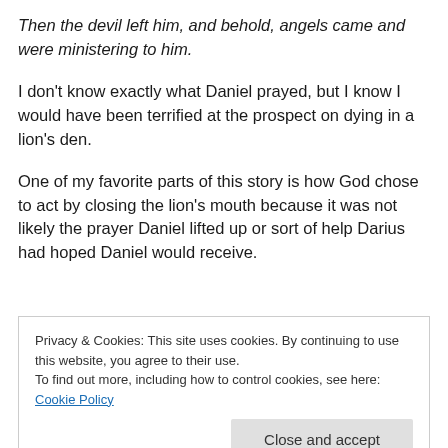Then the devil left him, and behold, angels came and were ministering to him.
I don’t know exactly what Daniel prayed, but I know I would have been terrified at the prospect on dying in a lion’s den.
One of my favorite parts of this story is how God chose to act by closing the lion’s mouth because it was not likely the prayer Daniel lifted up or sort of help Darius had hoped Daniel would receive.
Privacy & Cookies: This site uses cookies. By continuing to use this website, you agree to their use. To find out more, including how to control cookies, see here: Cookie Policy
God acts in such a way that He will receive the most glory.